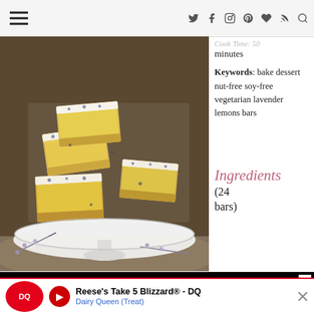Navigation bar with hamburger menu and social icons (Twitter, Facebook, Instagram, Pinterest, Heart/Bloglovin, RSS, Search)
[Figure (photo): Close-up photo of powdered sugar-dusted lemon lavender bars stacked on a white cake stand, with lavender buds scattered around on a blue and white patterned surface.]
Cook Time: 50 minutes
Keywords: bake dessert nut-free soy-free vegetarian lavender lemons bars
Ingredients (24 bars)
[Figure (screenshot): Advertisement banner with yellow bold text reading 'DON'T TEXT' on black background with close button]
Reese's Take 5 Blizzard® - DQ  Dairy Queen (Treat)